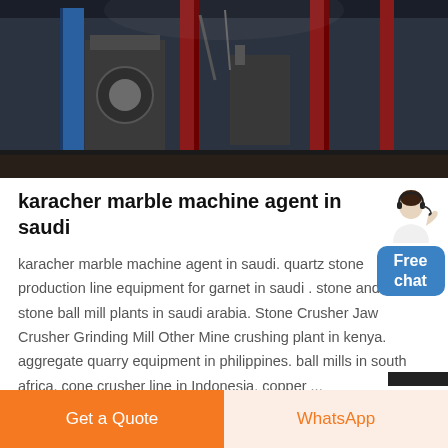[Figure (photo): Industrial machinery/equipment photo showing large mechanical structures with red and blue vertical columns in a factory or mining facility setting]
karacher marble machine agent in saudi
karacher marble machine agent in saudi. quartz stone production line equipment for garnet in saudi . stone and lime stone ball mill plants in saudi arabia. Stone Crusher Jaw Crusher Grinding Mill Other Mine crushing plant in kenya. aggregate quarry equipment in philippines. ball mills in south africa. cone crusher line in Indonesia. copper ...
Get a Quote | WhatsApp